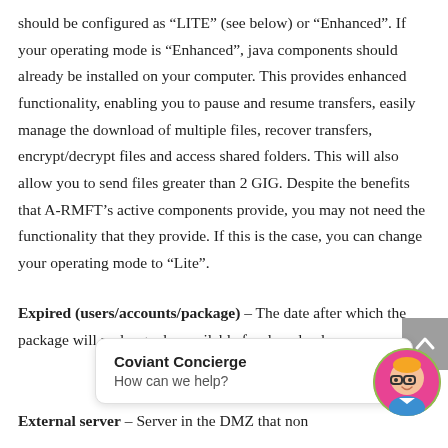should be configured as “LITE” (see below) or “Enhanced”. If your operating mode is “Enhanced”, java components should already be installed on your computer. This provides enhanced functionality, enabling you to pause and resume transfers, easily manage the download of multiple files, recover transfers, encrypt/decrypt files and access shared folders. This will also allow you to send files greater than 2 GIG. Despite the benefits that A-RMFT’s active components provide, you may not need the functionality that they provide. If this is the case, you can change your operating mode to “Lite”.
Expired (users/accounts/package) – The date after which the package will no longer be available for download.
External server – Server in the DMZ that non